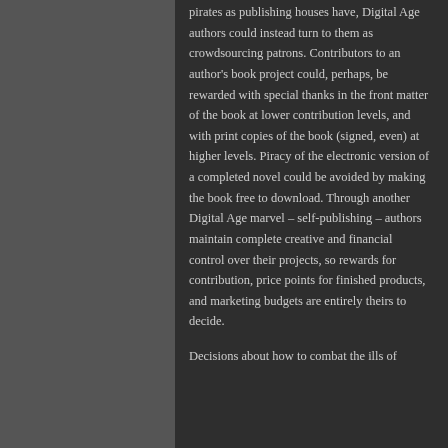pirates as publishing houses have, Digital Age authors could instead turn to them as crowdsourcing patrons. Contributors to an author's book project could, perhaps, be rewarded with special thanks in the front matter of the book at lower contribution levels, and with print copies of the book (signed, even) at higher levels. Piracy of the electronic version of a completed novel could be avoided by making the book free to download. Through another Digital Age marvel – self-publishing – authors maintain complete creative and financial control over their projects, so rewards for contribution, price points for finished products, and marketing budgets are entirely theirs to decide.
Decisions about how to combat the ills of